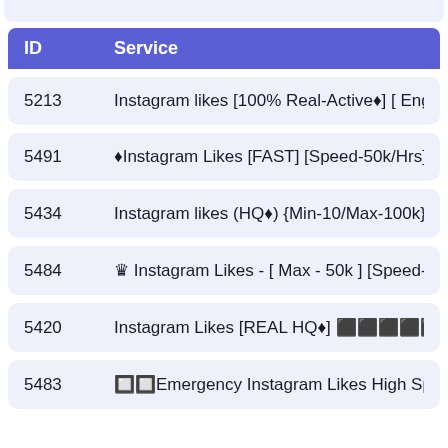| ID | Service |
| --- | --- |
| 5213 | Instagram likes [100% Real-Active♦] [ English speake… |
| 5491 | ♦Instagram Likes [FAST] [Speed-50k/Hrs] Max-50k |… |
| 5434 | Instagram likes (HQ♦) {Min-10/Max-100k} [🔲🔲🔲🔲🔲 20🔲… |
| 5484 | ♛ Instagram Likes - [ Max - 50k ] [Speed-10k/hrs] [… |
| 5420 | Instagram Likes [REAL HQ♦] 🔲🔲🔲🔲🔲🔲🔲 [NEW] [ Highest… |
| 5483 | 🔲🔲Emergency Instagram Likes High Speed [Max-20k… |